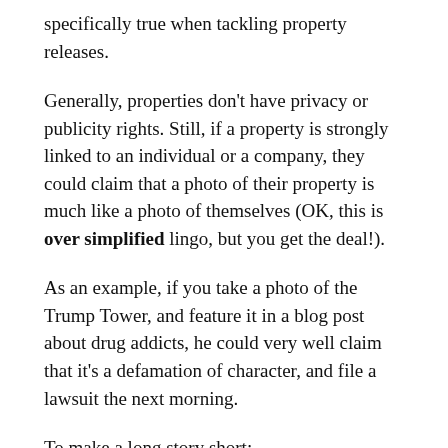specifically true when tackling property releases.
Generally, properties don't have privacy or publicity rights. Still, if a property is strongly linked to an individual or a company, they could claim that a photo of their property is much like a photo of themselves (OK, this is over simplified lingo, but you get the deal!).
As an example, if you take a photo of the Trump Tower, and feature it in a blog post about drug addicts, he could very well claim that it's a defamation of character, and file a lawsuit the next morning.
To make a long story short:
If you use your own photos on your blog, make sure they don't require a release or make sure